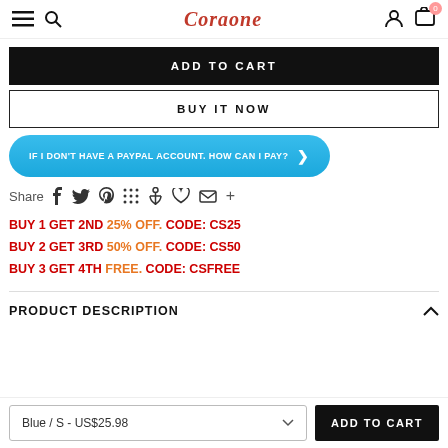Coraone
ADD TO CART
BUY IT NOW
IF I DON'T HAVE A PAYPAL ACCOUNT. HOW CAN I PAY?
Share
BUY 1 GET 2ND 25% OFF. CODE: CS25
BUY 2 GET 3RD 50% OFF. CODE: CS50
BUY 3 GET 4TH FREE. CODE: CSFREE
PRODUCT DESCRIPTION
Blue / S - US$25.98
ADD TO CART